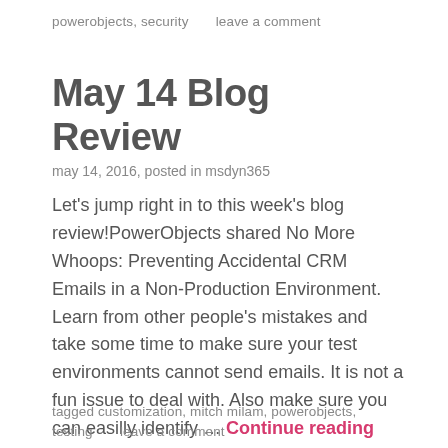powerobjects, security     leave a comment
May 14 Blog Review
may 14, 2016, posted in msdyn365
Let's jump right in to this week's blog review!PowerObjects shared No More Whoops: Preventing Accidental CRM Emails in a Non-Production Environment. Learn from other people's mistakes and take some time to make sure your test environments cannot send emails. It is not a fun issue to deal with. Also make sure you can easilly identify … Continue reading
tagged customization, mitch milam, powerobjects, testing     leave a comment